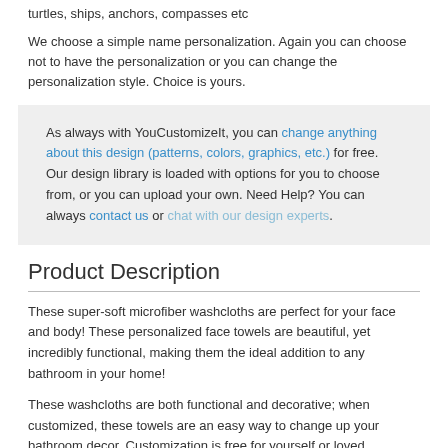turtles, ships, anchors, compasses etc
We choose a simple name personalization. Again you can choose not to have the personalization or you can change the personalization style. Choice is yours.
As always with YouCustomizeIt, you can change anything about this design (patterns, colors, graphics, etc.) for free. Our design library is loaded with options for you to choose from, or you can upload your own. Need Help? You can always contact us or chat with our design experts.
Product Description
These super-soft microfiber washcloths are perfect for your face and body! These personalized face towels are beautiful, yet incredibly functional, making them the ideal addition to any bathroom in your home!
These washcloths are both functional and decorative; when customized, these towels are an easy way to change up your bathroom decor. Customization is free for yourself or loved...